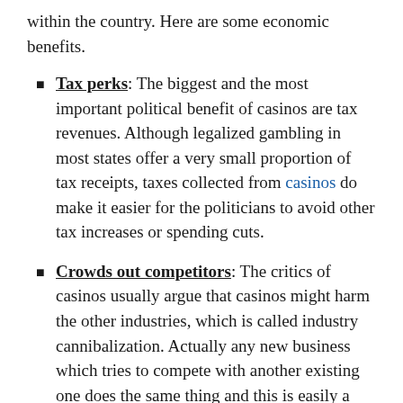within the country. Here are some economic benefits.
Tax perks: The biggest and the most important political benefit of casinos are tax revenues. Although legalized gambling in most states offer a very small proportion of tax receipts, taxes collected from casinos do make it easier for the politicians to avoid other tax increases or spending cuts.
Crowds out competitors: The critics of casinos usually argue that casinos might harm the other industries, which is called industry cannibalization. Actually any new business which tries to compete with another existing one does the same thing and this is easily a part of market economics. As a new casino creates new options for the consumers and the labor class, if people didn't enjoy gambling, they wouldn't spend their dollars in casinos. Casinos also have an impact on lotteries such as Hra Velka